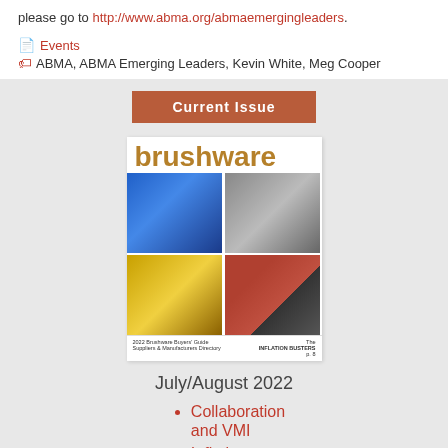please go to http://www.abma.org/abmaemergingleaders.
Events
ABMA, ABMA Emerging Leaders, Kevin White, Meg Cooper
Current Issue
[Figure (photo): Cover of Brushware magazine July/August 2022 showing four images of brushes: blue brush, metal brush, yellow brush, and black circular brush. Title reads 'brushware' in gold/yellow text. Bottom text: 2022 Brushware Buyers Guide Suppliers & Manufacturers Directory]
July/August 2022
Collaboration and VMI
Inflation Busters